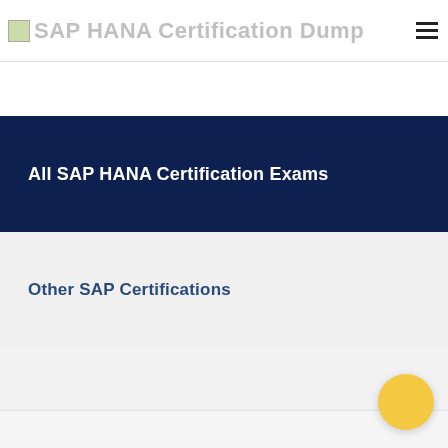SAP HANA Certification Dump
All SAP HANA Certification Exams
Other SAP Certifications